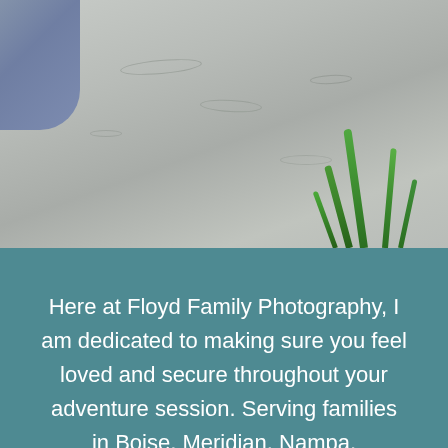[Figure (photo): Outdoor scene showing a person's arm in a blue/grey shirt on the left, with a sandy water or beach area in the background, and green grass blades in the lower right foreground.]
Here at Floyd Family Photography, I am dedicated to making sure you feel loved and secure throughout your adventure session. Serving families in Boise, Meridian, Nampa, throughout the Treasure